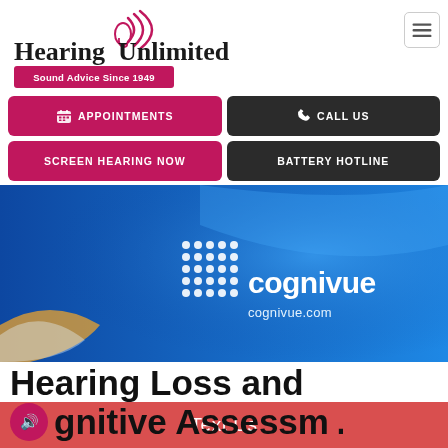[Figure (logo): Hearing Unlimited logo with sound waves graphic and tagline 'Sound Advice Since 1949' on pink background]
[Figure (other): Hamburger menu button (three horizontal lines in a rounded rectangle border)]
APPOINTMENTS
CALL US
SCREEN HEARING NOW
BATTERY HOTLINE
[Figure (photo): Cognivue banner image with blue gradient background, cognivue logo (white dots grid + cognivue text), and cognivue.com URL]
Hearing Loss and Cognitive Assessment
Text Us